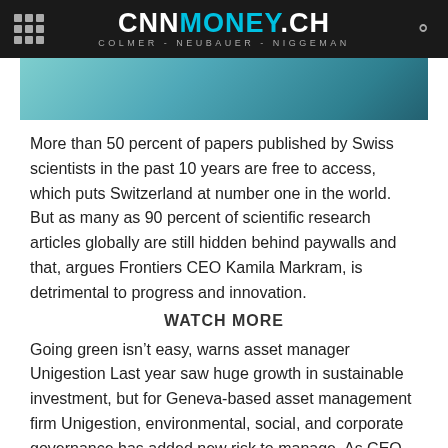CNNMONEY.CH COLMER - NEUBAUER - NIGGEMAN
[Figure (photo): Teal/cyan gradient banner image, partial view of a photo]
More than 50 percent of papers published by Swiss scientists in the past 10 years are free to access, which puts Switzerland at number one in the world. But as many as 90 percent of scientific research articles globally are still hidden behind paywalls and that, argues Frontiers CEO Kamila Markram, is detrimental to progress and innovation.
WATCH MORE
Going green isn't easy, warns asset manager Unigestion Last year saw huge growth in sustainable investment, but for Geneva-based asset management firm Unigestion, environmental, social, and corporate governance has added new risk to manage. As CEO Fiona Frick explains, doing